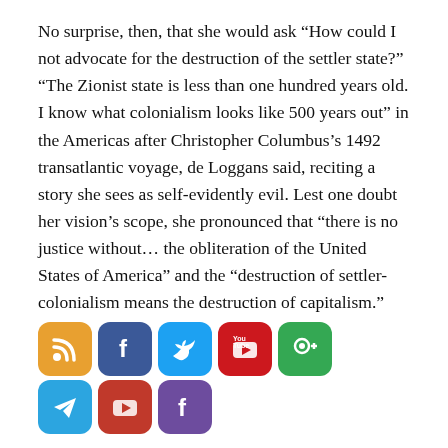No surprise, then, that she would ask “How could I not advocate for the destruction of the settler state?” “The Zionist state is less than one hundred years old. I know what colonialism looks like 500 years out” in the Americas after Christopher Columbus’s 1492 transatlantic voyage, de Loggans said, reciting a story she sees as self-evidently evil. Lest one doubt her vision’s scope, she pronounced that “there is no justice without… the obliteration of the United States of America” and the “destruction of settler-colonialism means the destruction of capitalism.”
[Figure (other): Social media sharing icons: RSS, Facebook, Twitter, YouTube, Google+, Telegram, YouTube (red), Facebook (purple)]
TRENDING: The Silent Coup
“White people should not own land, white people should not own property” in the United States, de Loggans also said. Such Americans “...